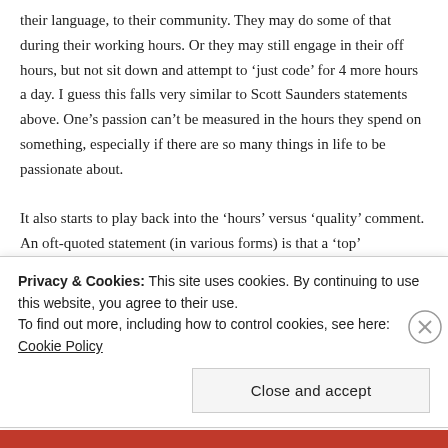their language, to their community. They may do some of that during their working hours. Or they may still engage in their off hours, but not sit down and attempt to 'just code' for 4 more hours a day. I guess this falls very similar to Scott Saunders statements above. One's passion can't be measured in the hours they spend on something, especially if there are so many things in life to be passionate about.

It also starts to play back into the 'hours' versus 'quality' comment. An oft-quoted statement (in various forms) is that a 'top' programmer can be 10 times more efficient than an average one. That can often come with extra burn out capability as well though. But it also means that someone
Privacy & Cookies: This site uses cookies. By continuing to use this website, you agree to their use.
To find out more, including how to control cookies, see here: Cookie Policy
Close and accept